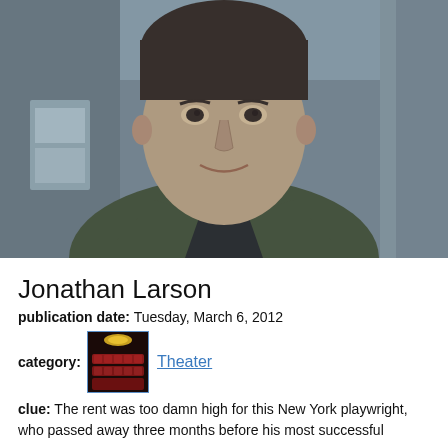[Figure (photo): Black and white photograph of Jonathan Larson, a young man in a dark jacket, looking at the camera with a slight smile. Background appears to be an urban/indoor setting.]
Jonathan Larson
publication date: Tuesday, March 6, 2012
category: Theater
clue: The rent was too damn high for this New York playwright, who passed away three months before his most successful